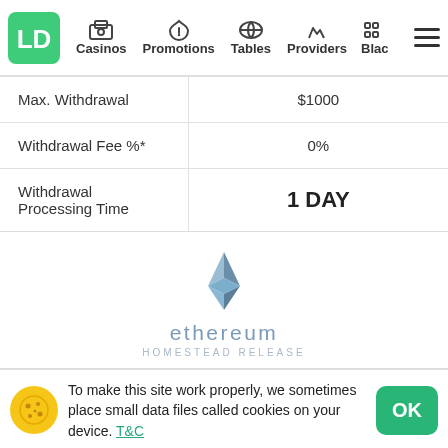Casinos | Promotions | Tables | Providers | Blac
| Max. Withdrawal | $1000 |
| Withdrawal Fee %* | 0% |
| Withdrawal Processing Time | 1 DAY |
[Figure (logo): Ethereum Homestead Release logo — diamond shape above the word 'ethereum' and 'HOMESTEAD RELEASE']
To make this site work properly, we sometimes place small data files called cookies on your device. T&C